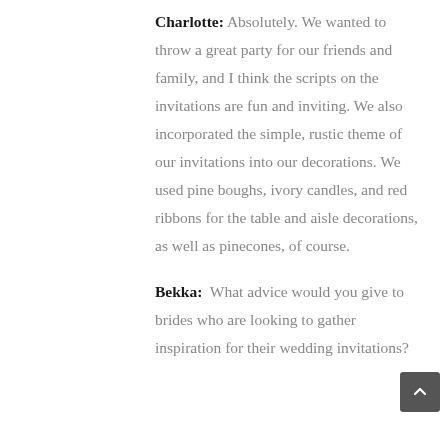Charlotte: Absolutely. We wanted to throw a great party for our friends and family, and I think the scripts on the invitations are fun and inviting. We also incorporated the simple, rustic theme of our invitations into our decorations. We used pine boughs, ivory candles, and red ribbons for the table and aisle decorations, as well as pinecones, of course.
Bekka: What advice would you give to brides who are looking to gather inspiration for their wedding invitations?